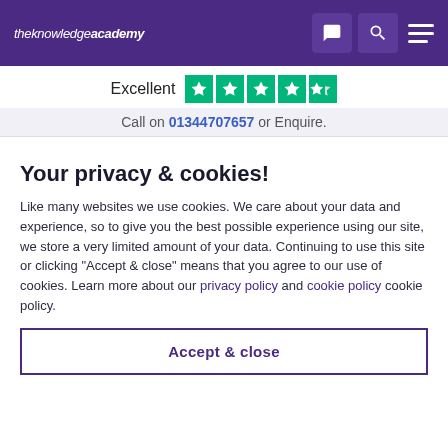the knowledge academy
Excellent ★★★★½
Call on 01344707657 or Enquire.
Your privacy & cookies!
Like many websites we use cookies. We care about your data and experience, so to give you the best possible experience using our site, we store a very limited amount of your data. Continuing to use this site or clicking "Accept & close" means that you agree to our use of cookies. Learn more about our privacy policy and cookie policy cookie policy.
Accept & close